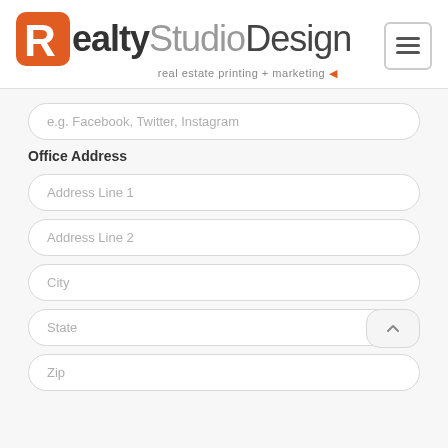[Figure (logo): RealtyStudioDesign logo with orange R icon and tagline 'real estate printing + marketing']
e.g. Facebook, Twitter, Instagram
Office Address
Address Line 1
Address Line 2
City
State
Zip